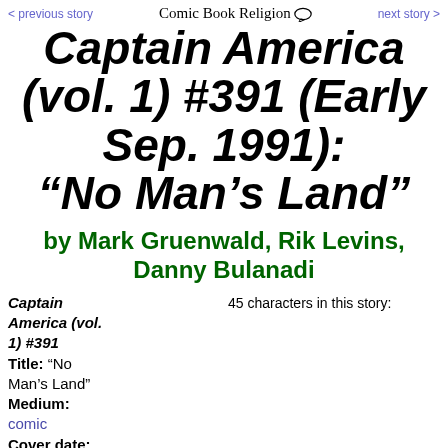< previous story   Comic Book Religion   next story >
Captain America (vol. 1) #391 (Early Sep. 1991): “No Man’s Land”
by Mark Gruenwald, Rik Levins, Danny Bulanadi
Captain America (vol. 1) #391
Title: “No Man’s Land”
Medium: comic
Cover date: Early Sep.
45 characters in this story: